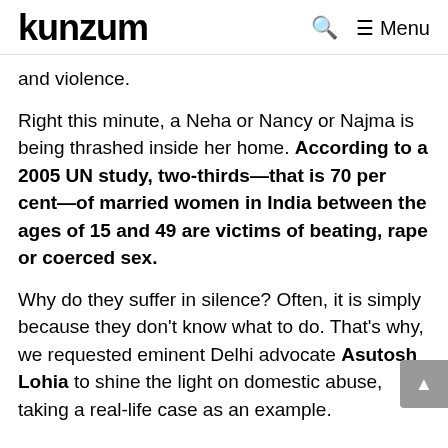kunzum — Menu
and violence.
Right this minute, a Neha or Nancy or Najma is being thrashed inside her home. According to a 2005 UN study, two-thirds—that is 70 per cent—of married women in India between the ages of 15 and 49 are victims of beating, rape or coerced sex.
Why do they suffer in silence? Often, it is simply because they don't know what to do. That's why, we requested eminent Delhi advocate Asutosh Lohia to shine the light on domestic abuse, taking a real-life case as an example.